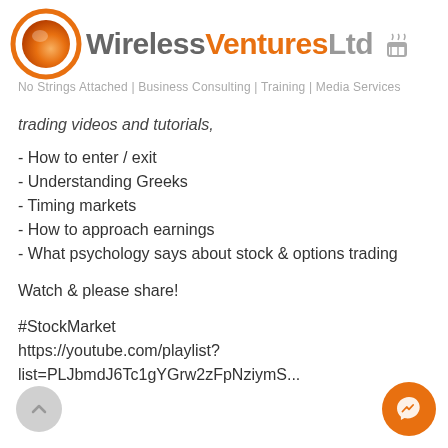[Figure (logo): Wireless Ventures Ltd logo with orange circle and company name]
No Strings Attached | Business Consulting | Training | Media Services
trading videos and tutorials,
- How to enter / exit
- Understanding Greeks
- Timing markets
- How to approach earnings
- What psychology says about stock & options trading
Watch & please share!
#StockMarket
https://youtube.com/playlist?
list=PLJbmdJ6Tc1gYGrw2zFpNziymS...